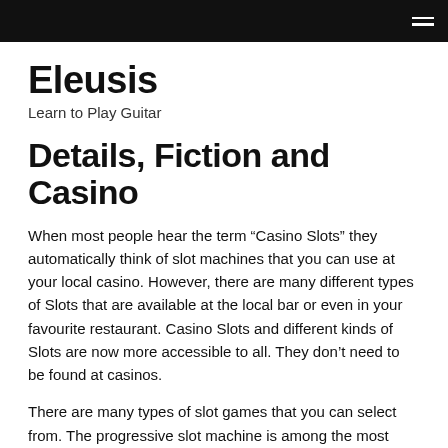Eleusis — navigation bar
Eleusis
Learn to Play Guitar
Details, Fiction and Casino
When most people hear the term “Casino Slots” they automatically think of slot machines that you can use at your local casino. However, there are many different types of Slots that are available at the local bar or even in your favourite restaurant. Casino Slots and different kinds of Slots are now more accessible to all. They don’t need to be found at casinos.
There are many types of slot games that you can select from. The progressive slot machine is among the most popular kinds. When you play a progressive slot machine, you’ll be able to accumulate jackpots over the course of the game.